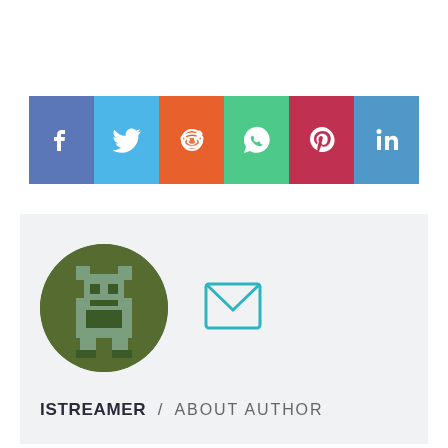[Figure (infographic): Social media sharing buttons: Facebook (blue), Twitter (light blue), Reddit (orange), WhatsApp (green), Pinterest (dark red/crimson), LinkedIn (blue)]
[Figure (illustration): Author avatar: circular dark olive green background with pixel-art cat/robot character in sage green and dark olive tones]
[Figure (illustration): Email/envelope icon in cyan/teal outline style]
ISTREAMER / ABOUT AUTHOR